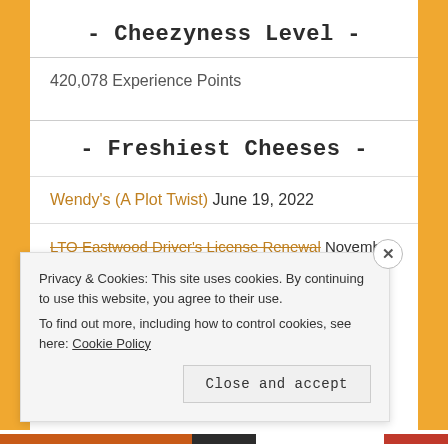- Cheezyness Level -
420,078 Experience Points
- Freshiest Cheeses -
Wendy's (A Plot Twist) June 19, 2022
LTO Eastwood Driver's License Renewal November 12, 2021
Privacy & Cookies: This site uses cookies. By continuing to use this website, you agree to their use.
To find out more, including how to control cookies, see here: Cookie Policy
Close and accept